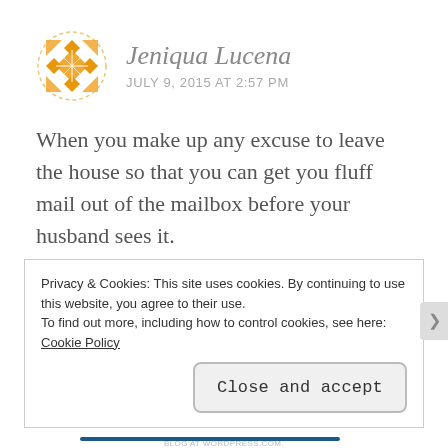Jeniqua Lucena
JULY 9, 2015 AT 2:57 PM
When you make up any excuse to leave the house so that you can get you fluff mail out of the mailbox before your husband sees it.
Like
Reply
Privacy & Cookies: This site uses cookies. By continuing to use this website, you agree to their use.
To find out more, including how to control cookies, see here: Cookie Policy
Close and accept